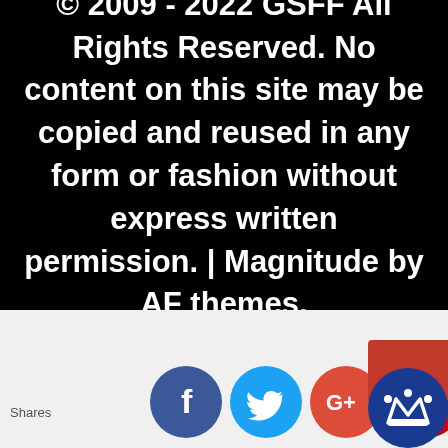© 2009 - 2022 GSFF All Rights Reserved. No content on this site may be copied and reused in any form or fashion without express written permission. | Magnitude by AF themes.
Shares
[Figure (illustration): Row of social media share icons: Facebook (blue circle with f), Twitter (light blue circle with bird), Google+ (red-orange circle with G+), Pinterest (dark red circle with P), and a crown icon (dark blue circle with crown, red rectangle behind top)]